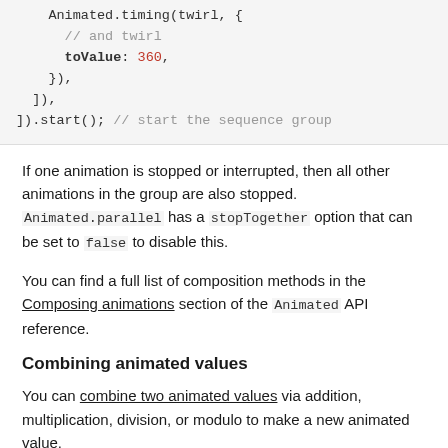[Figure (screenshot): Code block showing Animated.timing(twirl, { // and twirl toValue: 360, }), ]), ]).start(); // start the sequence group]
If one animation is stopped or interrupted, then all other animations in the group are also stopped. Animated.parallel has a stopTogether option that can be set to false to disable this.
You can find a full list of composition methods in the Composing animations section of the Animated API reference.
Combining animated values
You can combine two animated values via addition, multiplication, division, or modulo to make a new animated value.